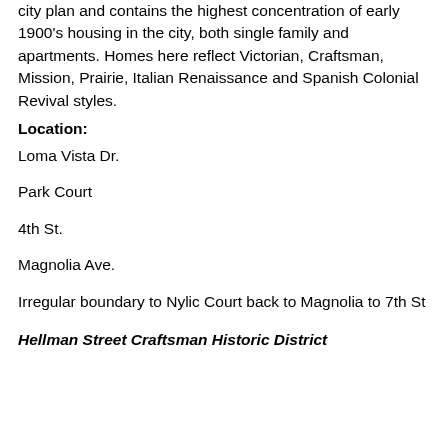city plan and contains the highest concentration of early 1900's housing in the city, both single family and apartments. Homes here reflect Victorian, Craftsman, Mission, Prairie, Italian Renaissance and Spanish Colonial Revival styles.
Location:
Loma Vista Dr.
Park Court
4th St.
Magnolia Ave.
Irregular boundary to Nylic Court back to Magnolia to 7th St
Hellman Street Craftsman Historic District